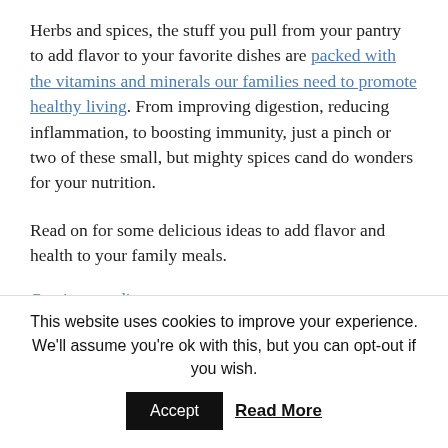Herbs and spices, the stuff you pull from your pantry to add flavor to your favorite dishes are packed with the vitamins and minerals our families need to promote healthy living. From improving digestion, reducing inflammation, to boosting immunity, just a pinch or two of these small, but mighty spices cand do wonders for your nutrition.
Read on for some delicious ideas to add flavor and health to your family meals.
Continue reading →
This entry was posted in Feast, Inspire, Smile and tagged cooking, family health, health, healthy eating, healthy eating for families, herbs, meals, nutrition, recipes, spices, wellness on December 15
This website uses cookies to improve your experience. We'll assume you're ok with this, but you can opt-out if you wish.
Accept  Read More